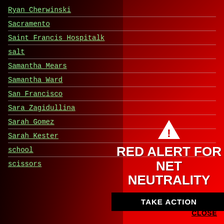Ryan Cherwinski
Sacramento
Saint Francis Hospitalk
salt
Samantha Mears
Samantha Ward
San Francisco
Sara Zagidullina
Sarah Gomez
Sarah Kester
school
scissors
[Figure (infographic): Red Alert for Net Neutrality banner with warning triangle icon, bold white text 'RED ALERT FOR NET NEUTRALITY', a black 'TAKE ACTION' button, and a 'CLOSE' link, overlaid on the right side of the page over a red background.]